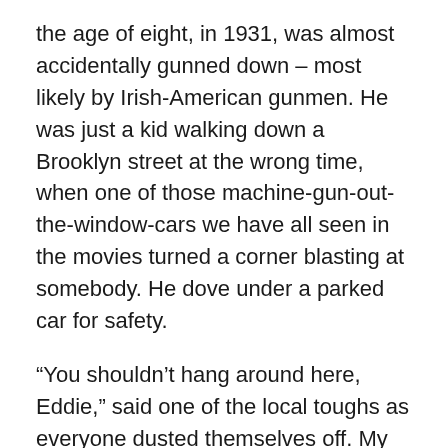the age of eight, in 1931, was almost accidentally gunned down – most likely by Irish-American gunmen.  He was just a kid walking down a Brooklyn street at the wrong time, when one of those machine-gun-out-the-window-cars we have all seen in the movies turned a corner blasting at somebody.  He dove under a parked car for safety.
“You shouldn’t hang around here, Eddie,” said one of the local toughs as everyone dusted themselves off.  My father ran straight home, never bothering to survey the aftermath of the drive-by.  He also knew, at that tender age, to be “in the wind” by the time the coppers arrived.
In fact, my father’s first cousin, Helen Walsh, was, at that very moment, gun moll, and accomplice for Irish/German-American gangster, murderer, and cop-killer, Francis “Two-